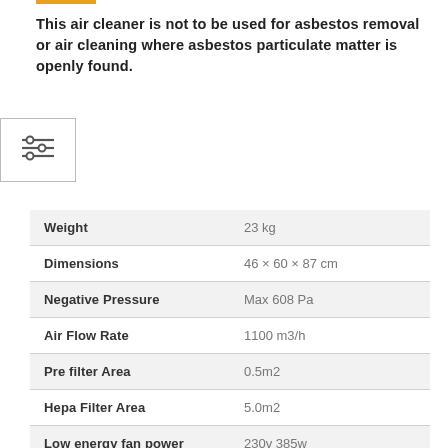This air cleaner is not to be used for asbestos removal or air cleaning where asbestos particulate matter is openly found.
[Figure (other): Filter/settings icon with three horizontal sliders]
| Specification | Value |
| --- | --- |
| Weight | 23 kg |
| Dimensions | 46 × 60 × 87 cm |
| Negative Pressure | Max 608 Pa |
| Air Flow Rate | 1100 m3/h |
| Pre filter Area | 0.5m2 |
| Hepa Filter Area | 5.0m2 |
| Low energy fan power | 230v 385w |